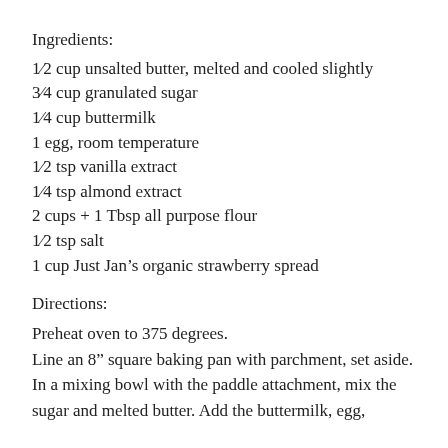Ingredients:
1⁄2 cup unsalted butter, melted and cooled slightly
3⁄4 cup granulated sugar
1⁄4 cup buttermilk
1 egg, room temperature
1⁄2 tsp vanilla extract
1⁄4 tsp almond extract
2 cups + 1 Tbsp all purpose flour
1⁄2 tsp salt
1 cup Just Jan’s organic strawberry spread
Directions:
Preheat oven to 375 degrees.
Line an 8” square baking pan with parchment, set aside.
In a mixing bowl with the paddle attachment, mix the sugar and melted butter. Add the buttermilk, egg,